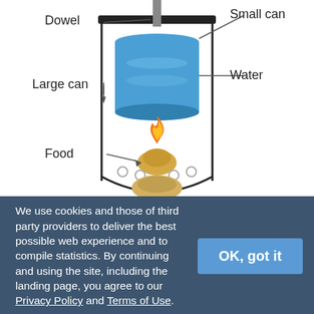[Figure (schematic): Diagram of a calorimeter apparatus showing a large can with a dowel inserted from the top, a small can inside filled with water (shown in blue), food burning at the bottom with a flame, all inside a curved base. Labels: Dowel (top left), Small can (top right), Large can (middle left), Water (middle right), Food (middle left lower).]
Have you ever wondered how nutritionists know how many Calories a certain food contains? In this project you will learn a method for measuring how many Calories (how much chemical energy) is available in different types of food. You will build your own calorimeter to capture the energy released by burning a small food item, like a nut or a piece of food. This
We use cookies and those of third party providers to deliver the best possible web experience and to compile statistics. By continuing and using the site, including the landing page, you agree to our Privacy Policy and Terms of Use.